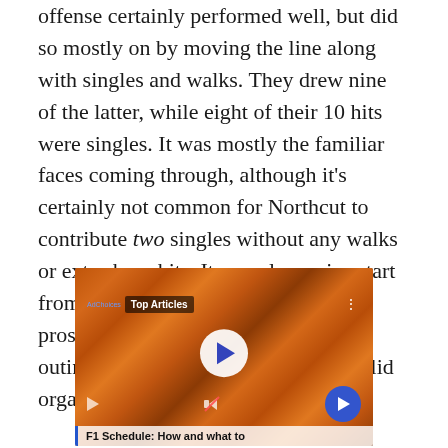offense certainly performed well, but did so mostly on by moving the line along with singles and walks. They drew nine of the latter, while eight of their 10 hits were singles. It was mostly the familiar faces coming through, although it's certainly not common for Northcut to contribute two singles without any walks or extra-base hits. It was also a nice start from Van Belle, who isn't much of a prospect but has had a few of these outings in the organization and is a solid organizational piece.
[Figure (screenshot): Video player thumbnail showing a crowd of people in orange, with a 'Top Articles' badge and play button overlay. Caption reads 'F1 Schedule: How and what to']